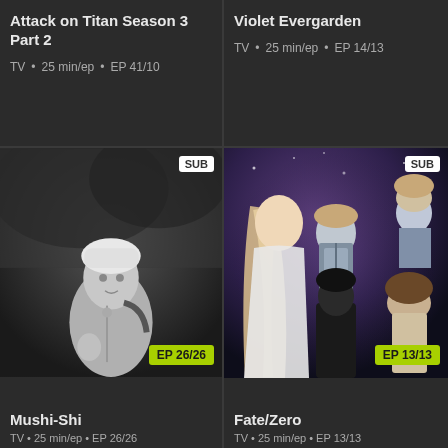Attack on Titan Season 3 Part 2
TV • 25 min/ep • EP 41/10
Violet Evergarden
TV • 25 min/ep • EP 14/13
[Figure (illustration): Grayscale anime illustration of a white-haired male character with a backpack, badge labeled SUB in top right, EP 26/26 badge bottom right]
[Figure (illustration): Colorful anime illustration of multiple characters including a woman with long blonde hair and armored characters, badge labeled SUB in top right, EP 13/13 badge bottom right]
Mushi-Shi
TV • 25 min/ep • EP 26/26
Fate/Zero
TV • 25 min/ep • EP 13/13